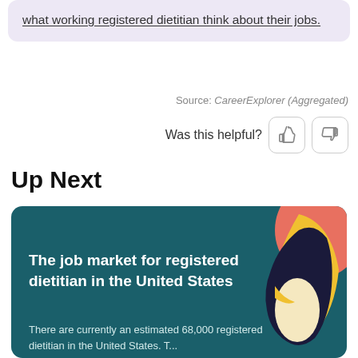what working registered dietitian think about their jobs.
Source: CareerExplorer (Aggregated)
Was this helpful?
Up Next
[Figure (illustration): Promotional card with teal background showing a stylized toucan bird illustration with yellow, coral, cream, and dark navy colors. Card contains title and description text about registered dietitian job market.]
The job market for registered dietitian in the United States
There are currently an estimated 68,000 registered dietitian in the United States. T...
READ ABOUT THE JOB MARKET FOR REGISTERED DIETITIAN IN